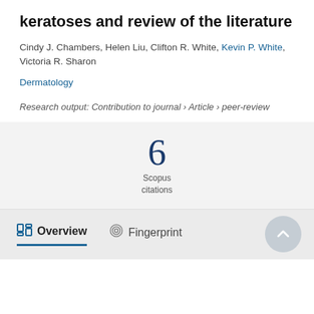keratoses and review of the literature
Cindy J. Chambers, Helen Liu, Clifton R. White, Kevin P. White, Victoria R. Sharon
Dermatology
Research output: Contribution to journal › Article › peer-review
[Figure (infographic): Scopus citations badge showing the number 6]
Overview   Fingerprint